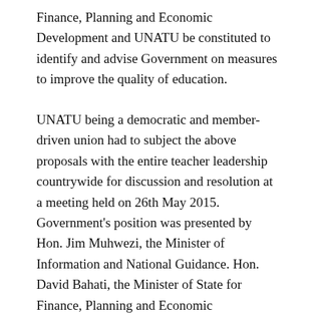Finance, Planning and Economic Development and UNATU be constituted to identify and advise Government on measures to improve the quality of education.
UNATU being a democratic and member-driven union had to subject the above proposals with the entire teacher leadership countrywide for discussion and resolution at a meeting held on 26th May 2015. Government's position was presented by Hon. Jim Muhwezi, the Minister of Information and National Guidance. Hon. David Bahati, the Minister of State for Finance, Planning and Economic Development was also in attendance.